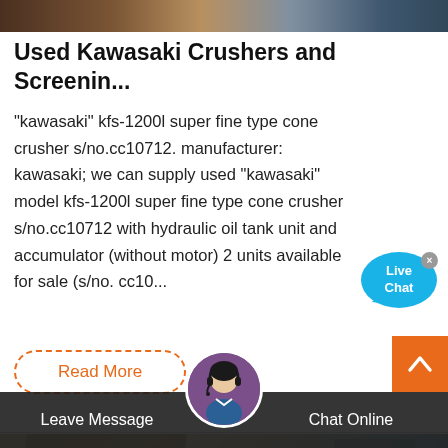[Figure (photo): Top banner image strip showing industrial/equipment scene]
Used Kawasaki Crushers and Screenin...
"kawasaki" kfs-1200l super fine type cone crusher s/no.cc10712. manufacturer: kawasaki; we can supply used "kawasaki" model kfs-1200l super fine type cone crusher s/no.cc10712 with hydraulic oil tank unit and accumulator (without motor) 2 units available for sale (s/no. cc10...
[Figure (other): Live Chat bubble widget — blue speech bubble with 'Live Chat' text and X close button]
Read More
[Figure (photo): Bottom section showing industrial crusher/screening equipment against sky background]
Leave Message
Chat Online